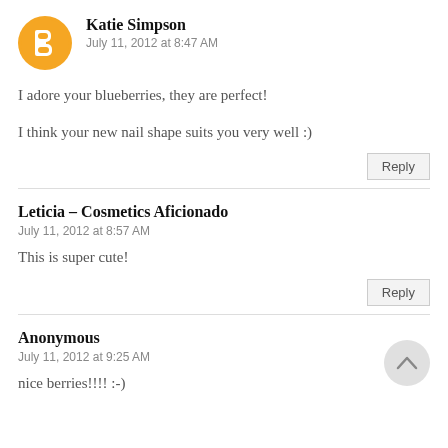[Figure (illustration): Orange circular avatar icon with white blogger 'B' logo]
Katie Simpson
July 11, 2012 at 8:47 AM
I adore your blueberries, they are perfect!
I think your new nail shape suits you very well :)
Reply
Leticia – Cosmetics Aficionado
July 11, 2012 at 8:57 AM
This is super cute!
Reply
Anonymous
July 11, 2012 at 9:25 AM
nice berries!!!! :-)